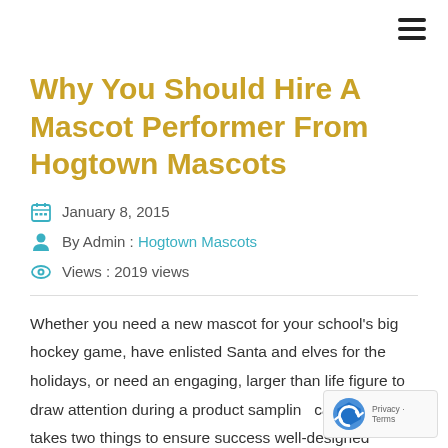Why You Should Hire A Mascot Performer From Hogtown Mascots
January 8, 2015
By Admin : Hogtown Mascots
Views : 2019 views
Whether you need a new mascot for your school's big hockey game, have enlisted Santa and elves for the holidays, or need an engaging, larger than life figure to draw attention during a product sampling campaign, it takes two things to ensure success well-designed mascot costume and a talented